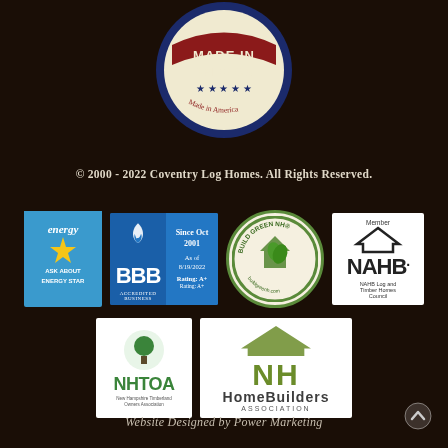[Figure (logo): Made in America circular stamp/badge logo with red, navy, and cream colors showing text 'MADE IN AMERICA' and stars]
© 2000 - 2022 Coventry Log Homes. All Rights Reserved.
[Figure (logo): Row of certification logos: Energy Star, BBB Accredited Business (Since Oct 2001, As of 8/19/2022, Rating A+), Build Green NH, NAHB Member Log and Timber Homes Council]
[Figure (logo): Row of logos: NHTOA (New Hampshire Timberland Owners Association) and NH HomeBuilders Association]
Website Designed by Power Marketing